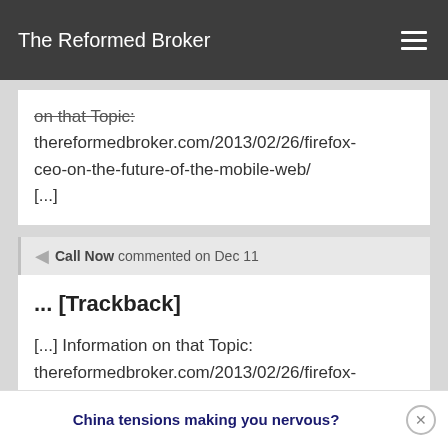The Reformed Broker
on that Topic: thereformedbroker.com/2013/02/26/firefox-ceo-on-the-future-of-the-mobile-web/ [...]
Call Now commented on Dec 11
... [Trackback]
[...] Information on that Topic: thereformedbroker.com/2013/02/26/firefox-ceo-on-the-future-of-the-mobile-web/
China tensions making you nervous?